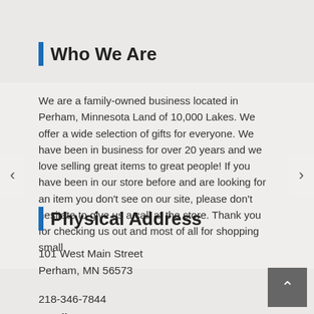Who We Are
We are a family-owned business located in Perham, Minnesota Land of 10,000 Lakes. We offer a wide selection of gifts for everyone. We have been in business for over 20 years and we love selling great items to great people! If you have been in our store before and are looking for an item you don't see on our site, please don't hesitate to give us a call at the store. Thank you for checking us out and most of all for shopping small.
Physical Address
101 West Main Street
Perham, MN 56573
218-346-7844
Email: